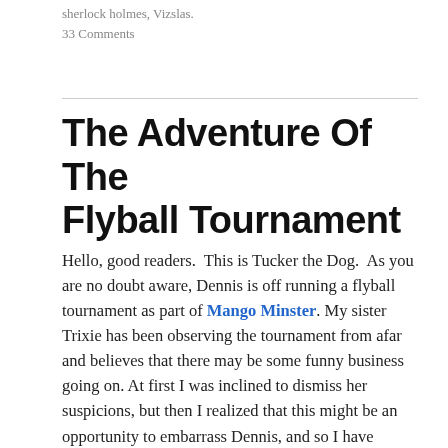sherlock holmes, Vizslas.
33 Comments
The Adventure Of The Flyball Tournament
Hello, good readers.  This is Tucker the Dog.  As you are no doubt aware, Dennis is off running a flyball tournament as part of Mango Minster. My sister Trixie has been observing the tournament from afar and believes that there may be some funny business going on. At first I was inclined to dismiss her suspicions, but then I realized that this might be an opportunity to embarrass Dennis, and so I have decided that we shall surreptitiously conduct an investigation to determine what is going. Come, my sidekick Trixie — the game is afoot!